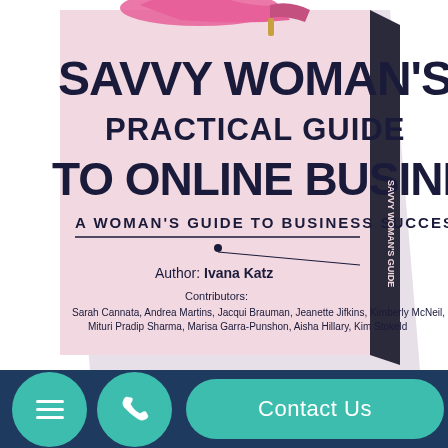[Figure (photo): A 3D book cover for 'Savvy Woman's Practical Guide to Online Business' by Ivana Katz, displayed at an angle. The book has a light pink cover with dark navy bold text. A pink high-heel shoe is partially visible at the top. The subtitle reads 'A Woman's Guide to Business Success' with a decorative line and dot. Contributors listed: Sarah Cannata, Andrea Martins, Jacqui Brauman, Jeanette Jifkins, Kimberly McNeil, Mituri Pradip Sharma, Marisa Garra-Punshon, Aisha Hillary, Kim Stokeld.]
[Figure (screenshot): Bottom navigation bar with teal background containing a hamburger menu button (circle), a phone icon button (circle), and a 'Contact Us' rounded button. Background is dark navy blue.]